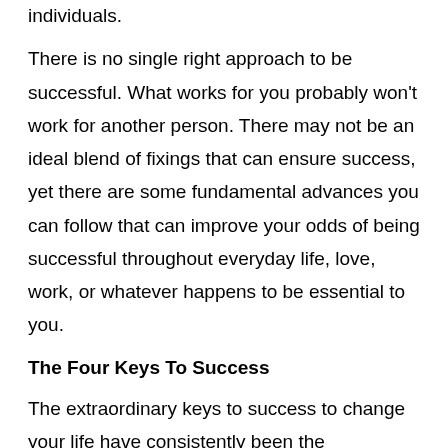individuals.
There is no single right approach to be successful. What works for you probably won't work for another person. There may not be an ideal blend of fixings that can ensure success, yet there are some fundamental advances you can follow that can improve your odds of being successful throughout everyday life, love, work, or whatever happens to be essential to you.
The Four Keys To Success
The extraordinary keys to success to change your life have consistently been the equivalent.
Choose precisely what you need and where you need to go.
Set a cutoff time and arrange to arrive. (Keep in